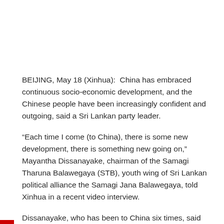BEIJING, May 18 (Xinhua):  China has embraced continuous socio-economic development, and the Chinese people have been increasingly confident and outgoing, said a Sri Lankan party leader.
“Each time I come (to China), there is some new development, there is something new going on,” Mayantha Dissanayake, chairman of the Samagi Tharuna Balawegaya (STB), youth wing of Sri Lankan political alliance the Samagi Jana Balawegaya, told Xinhua in a recent video interview.
Dissanayake, who has been to China six times, said